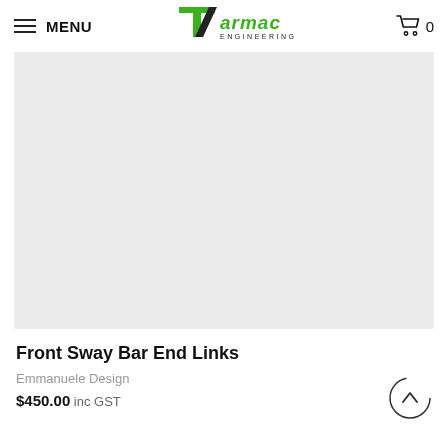MENU | Tarmac Engineering | Cart 0
[Figure (photo): Product image placeholder — light grey rectangle showing no product photo loaded]
Front Sway Bar End Links
Emmanuele Design
$450.00 inc GST